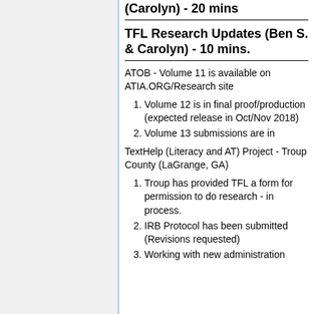(Carolyn) - 20 mins
TFL Research Updates (Ben S. & Carolyn) - 10 mins.
ATOB - Volume 11 is available on ATIA.ORG/Research site
Volume 12 is in final proof/production (expected release in Oct/Nov 2018)
Volume 13 submissions are in
TextHelp (Literacy and AT) Project - Troup County (LaGrange, GA)
Troup has provided TFL a form for permission to do research - in process.
IRB Protocol has been submitted (Revisions requested)
Working with new administration